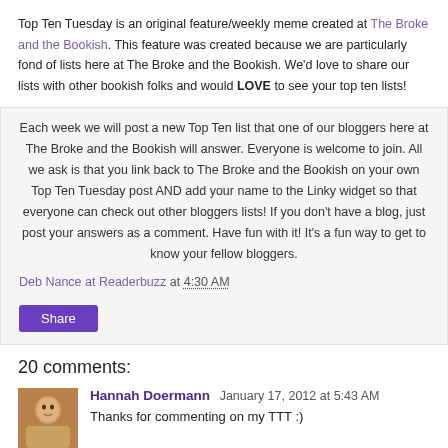Top Ten Tuesday is an original feature/weekly meme created at The Broke and the Bookish. This feature was created because we are particularly fond of lists here at The Broke and the Bookish. We'd love to share our lists with other bookish folks and would LOVE to see your top ten lists!
Each week we will post a new Top Ten list that one of our bloggers here at The Broke and the Bookish will answer. Everyone is welcome to join. All we ask is that you link back to The Broke and the Bookish on your own Top Ten Tuesday post AND add your name to the Linky widget so that everyone can check out other bloggers lists! If you don't have a blog, just post your answers as a comment. Have fun with it! It's a fun way to get to know your fellow bloggers.
Deb Nance at Readerbuzz at 4:30 AM
20 comments:
Hannah Doermann January 17, 2012 at 5:43 AM
Thanks for commenting on my TTT :)